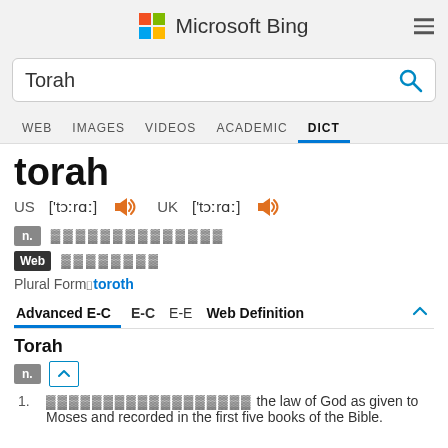Microsoft Bing
Torah [search query]
WEB  IMAGES  VIDEOS  ACADEMIC  DICT
torah
US ['tɔːrɑː]  UK ['tɔːrɑː]
n. [Chinese characters]  Web [Chinese characters]
Plural Form: toroth
Advanced E-C  E-C  E-E  Web Definition
Torah
n.
1. [Chinese characters] the law of God as given to Moses and recorded in the first five books of the Bible.